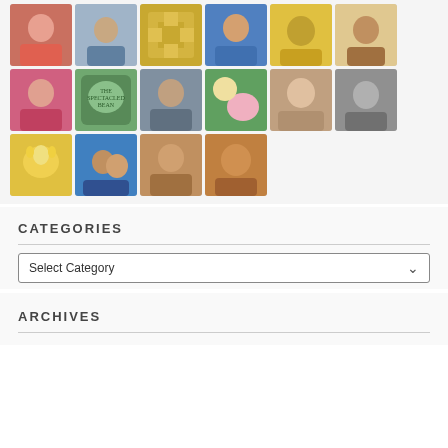[Figure (photo): Grid of avatar/profile photos and images arranged in 4 rows of 5 columns (with last row having only 1 image). Images include portraits, a book cover, nature photos, and other profile pictures.]
CATEGORIES
Select Category
ARCHIVES